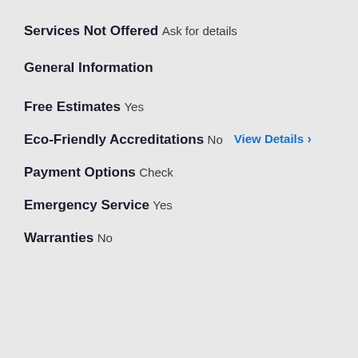Services Not Offered
Ask for details
General Information
Free Estimates
Yes
Eco-Friendly Accreditations
No   View Details ›
Payment Options
Check
Emergency Service
Yes
Warranties
No